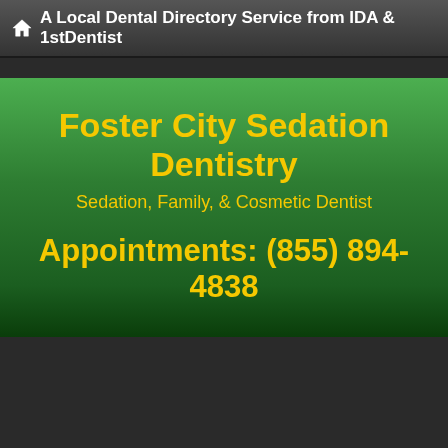A Local Dental Directory Service from IDA & 1stDentist
Foster City Sedation Dentistry
Sedation, Family, & Cosmetic Dentist
Appointments: (855) 894-4838